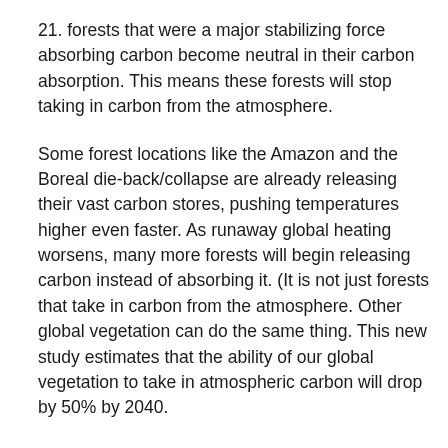21. forests that were a major stabilizing force absorbing carbon become neutral in their carbon absorption. This means these forests will stop taking in carbon from the atmosphere.
Some forest locations like the Amazon and the Boreal die-back/collapse are already releasing their vast carbon stores, pushing temperatures higher even faster. As runaway global heating worsens, many more forests will begin releasing carbon instead of absorbing it. (It is not just forests that take in carbon from the atmosphere. Other global vegetation can do the same thing. This new study estimates that the ability of our global vegetation to take in atmospheric carbon will drop by 50% by 2040.